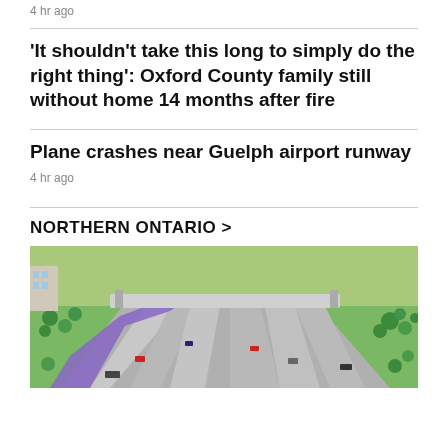4 hr ago
'It shouldn't take this long to simply do the right thing': Oxford County family still without home 14 months after fire
Plane crashes near Guelph airport runway
4 hr ago
NORTHERN ONTARIO >
[Figure (photo): Aerial rendering of a highway interchange with multiple lanes, vehicles, trees, and a purple/blue route highlighted, near Northern Ontario.]